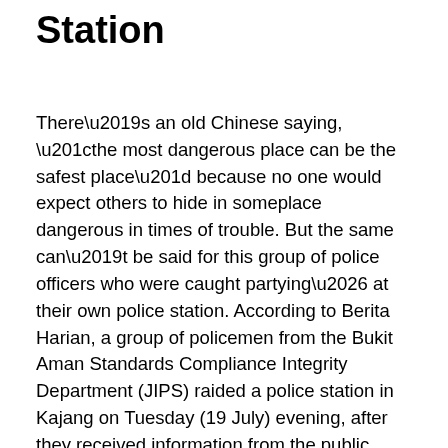Station
There’s an old Chinese saying, “the most dangerous place can be the safest place” because no one would expect others to hide in someplace dangerous in times of trouble. But the same can’t be said for this group of police officers who were caught partying… at their own police station. According to Berita Harian, a group of policemen from the Bukit Aman Standards Compliance Integrity Department (JIPS) raided a police station in Kajang on Tuesday (19 July) evening, after they received information from the public. True enough, up to eight individuals, including a police station chief